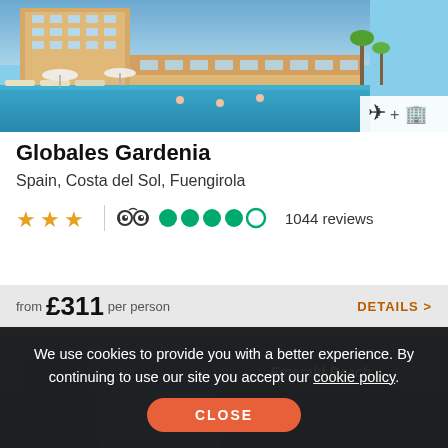[Figure (photo): Hotel exterior photo showing a large hotel building with pool area, sun loungers, palm trees and blue sky. Fuengirola, Spain.]
Globales Gardenia
Spain, Costa del Sol, Fuengirola
★★★  [TripAdvisor logo] ●●●●○  1044 reviews
from £311 per person   DETAILS >
We use cookies to provide you with a better experience. By continuing to use our site you accept our cookie policy.
CLOSE
[Figure (photo): Second hotel listing partially visible at the bottom, Emerald Beach hotel, overlaid by cookie consent banner.]